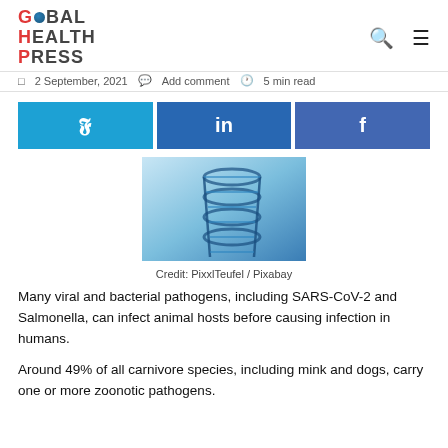GLOBAL HEALTH PRESS
2 September, 2021  Add comment  5 min read
[Figure (illustration): Three social media share buttons: Twitter (light blue), LinkedIn (dark blue), Facebook (dark blue)]
[Figure (photo): DNA double helix structure in blue tones against a blurred laboratory background. Credit: PixxlTeufel / Pixabay]
Credit: PixxlTeufel / Pixabay
Many viral and bacterial pathogens, including SARS-CoV-2 and Salmonella, can infect animal hosts before causing infection in humans.
Around 49% of all carnivore species, including mink and dogs, carry one or more zoonotic pathogens.